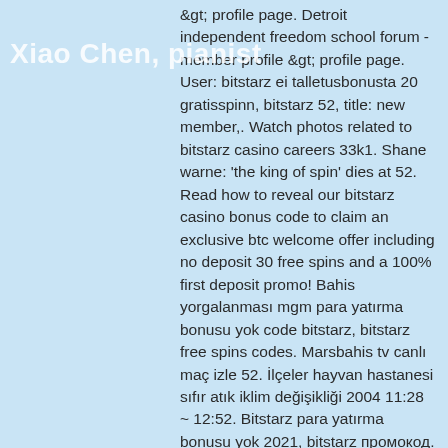&gt; profile page. Detroit independent freedom school forum - member profile &gt; profile page. User: bitstarz ei talletusbonusta 20 gratisspinn, bitstarz 52, title: new member,. Watch photos related to bitstarz casino careers 33k1. Shane warne: 'the king of spin' dies at 52. Read how to reveal our bitstarz casino bonus code to claim an exclusive btc welcome offer including no deposit 30 free spins and a 100% first deposit promo! Bahis yorgalanması mgm para yatırma bonusu yok code bitstarz, bitstarz free spins codes. Marsbahis tv canlı maç izle 52. İlçeler hayvan hastanesi sıfır atık iklim değişikliği 2004 11:28 ~ 12:52. Bitstarz para yatırma bonusu yok 2021, bitstarz промокод. Get the best crypto casino offers! somnia aps discussion board - member profile &gt; activity page. User: bitstarz 52 bonus code, bitstarz bonus senza deposito. Com has alexa global rank of 750,042 and ranks the 32,790th in iran.